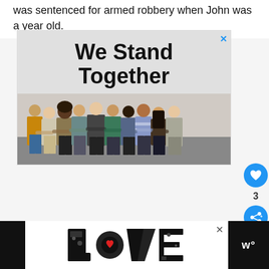was sentenced for armed robbery when John was a year old.
[Figure (illustration): Advertisement banner showing text 'We Stand Together' in bold black letters on a light gray background, with a photograph below of a diverse group of people standing with arms around each other, viewed from behind. A blue X close button appears in the top right corner.]
[Figure (logo): Bottom advertisement bar: black side panels with a white center showing 'LOVE' in decorative illustrated letters with a red heart detail, and a close X button. Right side black panel shows 'w°' logo in white.]